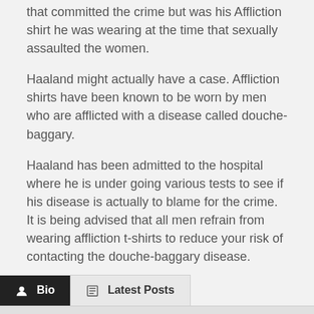that committed the crime but was his Affliction shirt he was wearing at the time that sexually assaulted the women.
Haaland might actually have a case.  Affliction shirts have been known to be worn by men who are afflicted with a disease called douche-baggary.
Haaland has been admitted to the hospital where he is under going various tests to see if his disease is actually to blame for the crime.  It is being advised that all men refrain from wearing affliction t-shirts to reduce your risk of contacting the douche-baggary disease.
Bio | Latest Posts